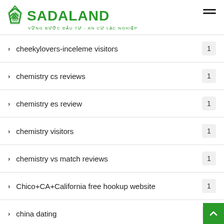SADALAND — VỮNG BƯỚC ĐẦU TƯ - AN CƯ LẠC NGHIỆP
cheekylovers-inceleme visitors 1
chemistry cs reviews 1
chemistry es review 1
chemistry visitors 1
chemistry vs match reviews 1
Chico+CA+California free hookup website 1
china dating 1
chin... (partial)